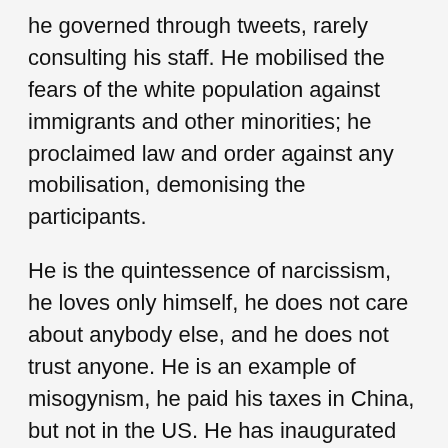he governed through tweets, rarely consulting his staff. He mobilised the fears of the white population against immigrants and other minorities; he proclaimed law and order against any mobilisation, demonising the participants.
He is the quintessence of narcissism, he loves only himself, he does not care about anybody else, and he does not trust anyone. He is an example of misogynism, he paid his taxes in China, but not in the US. He has inaugurated the post-truth era, by making several false affirmations every day.
He has used the public administration as his personal staff, changing public servants continuously and putting people who share his views in their jobs. The Minister of Education does not believe in the public school. The Minister of Justice believes that the president has power